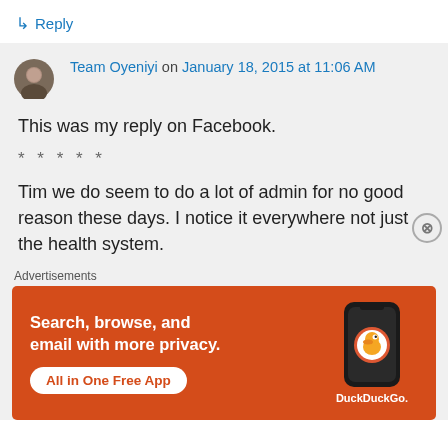↳ Reply
Team Oyeniyi on January 18, 2015 at 11:06 AM
This was my reply on Facebook.
* * * * *
Tim we do seem to do a lot of admin for no good reason these days. I notice it everywhere not just the health system.
Advertisements
[Figure (other): DuckDuckGo advertisement banner with orange background, text 'Search, browse, and email with more privacy. All in One Free App', and a phone image with DuckDuckGo logo]